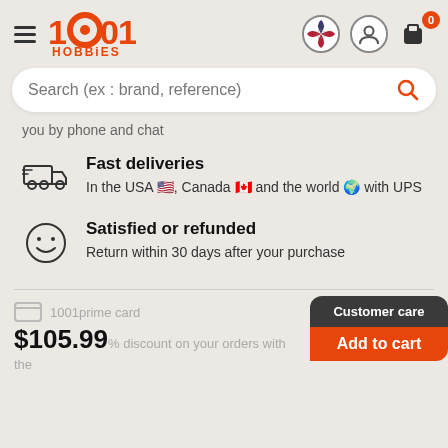1001 HOBBIES
Search (ex : brand, reference)
you by phone and chat
Fast deliveries
In the USA, Canada and the world with UPS
Satisfied or refunded
Return within 30 days after your purchase
1001prime card
$105.99 % discount on your orders with the
Customer care
Add to cart